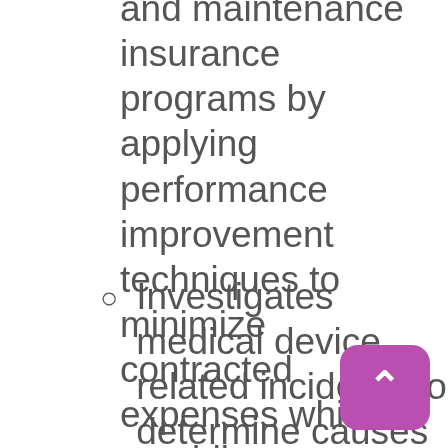and maintenance insurance programs by applying performance improvement techniques to minimize contracted expenses while providing expanded support for the growing network of Connecticut Health Systems.
Investigates medical device related incidents to determine causes and propose/implement preventive measures, training